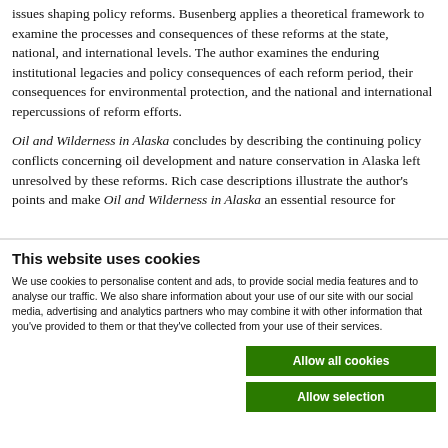issues shaping policy reforms. Busenberg applies a theoretical framework to examine the processes and consequences of these reforms at the state, national, and international levels. The author examines the enduring institutional legacies and policy consequences of each reform period, their consequences for environmental protection, and the national and international repercussions of reform efforts.
Oil and Wilderness in Alaska concludes by describing the continuing policy conflicts concerning oil development and nature conservation in Alaska left unresolved by these reforms. Rich case descriptions illustrate the author's points and make Oil and Wilderness in Alaska an essential resource for
This website uses cookies
We use cookies to personalise content and ads, to provide social media features and to analyse our traffic. We also share information about your use of our site with our social media, advertising and analytics partners who may combine it with other information that you've provided to them or that they've collected from your use of their services.